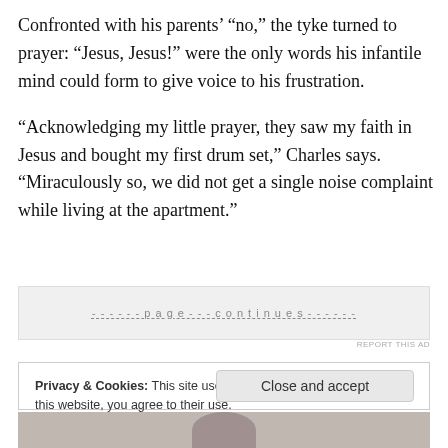Confronted with his parents’ “no,” the tyke turned to prayer: “Jesus, Jesus!” were the only words his infantile mind could form to give voice to his frustration.
“Acknowledging my little prayer, they saw my faith in Jesus and bought my first drum set,” Charles says. “Miraculously so, we did not get a single noise complaint while living at the apartment.”
[Figure (other): Advertisement placeholder banner with dashed text]
REPORT THIS AD
Privacy & Cookies: This site uses cookies. By continuing to use this website, you agree to their use.
To find out more, including how to control cookies, see here: Cookie Policy
Close and accept
[Figure (photo): Bottom of page showing top of a person's head/hair]